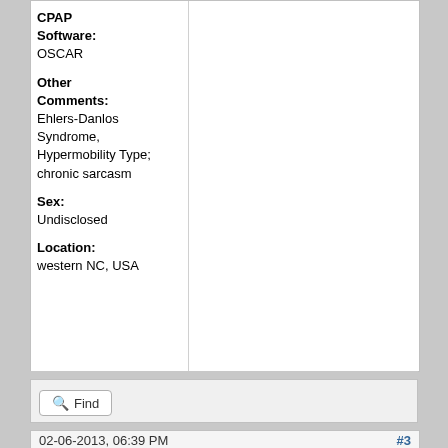CPAP Software: OSCAR
Other Comments: Ehlers-Danlos Syndrome, Hypermobility Type; chronic sarcasm
Sex: Undisclosed
Location: western NC, USA
Find
02-06-2013, 06:39 PM
#3
wasserware
RE: Death from sleep apnea
Here is another reason why sleep apnea left untreated can cause...